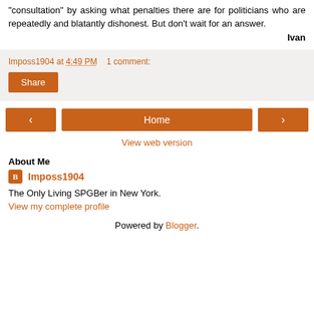“consultation” by asking what penalties there are for politicians who are repeatedly and blatantly dishonest. But don’t wait for an answer.

Ivan
Imposs1904 at 4:49 PM   1 comment:
Share
< Home >
View web version
About Me
Imposs1904
The Only Living SPGBer in New York.
View my complete profile
Powered by Blogger.